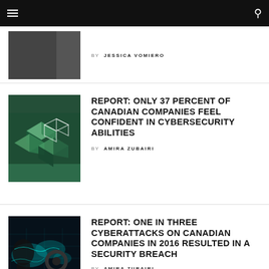Navigation bar with hamburger menu and search icon
[Figure (photo): Partial article thumbnail - dark image with person]
BY JESSICA VOMIERO
REPORT: ONLY 37 PERCENT OF CANADIAN COMPANIES FEEL CONFIDENT IN CYBERSECURITY ABILITIES
[Figure (photo): Green and black geometric cube/blockchain illustration]
BY AMIRA ZUBAIRI
REPORT: ONE IN THREE CYBERATTACKS ON CANADIAN COMPANIES IN 2016 RESULTED IN A SECURITY BREACH
[Figure (photo): Dark blue cyber image with world map, gears and digital head silhouette]
BY AMIRA ZUBAIRI